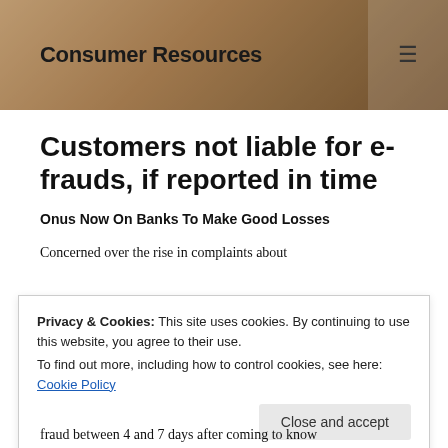Consumer Resources
Customers not liable for e-frauds, if reported in time
Onus Now On Banks To Make Good Losses
Concerned over the rise in complaints about
Privacy & Cookies: This site uses cookies. By continuing to use this website, you agree to their use.
To find out more, including how to control cookies, see here: Cookie Policy
Close and accept
fraud between 4 and 7 days after coming to know